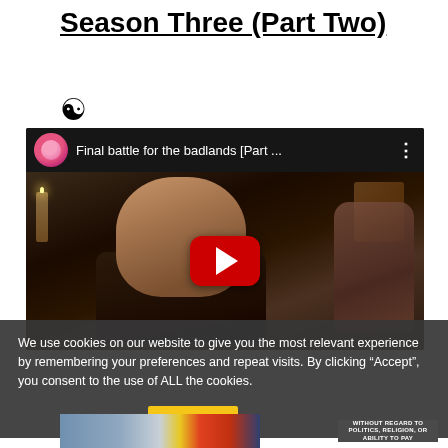Season Three (Part Two)
[Figure (illustration): Yin-yang symbol icon]
[Figure (screenshot): YouTube video embed showing 'Final battle for the badlands [Part ...' with a play button overlay, showing a dramatic scene with a person's face lit by candlelight]
We use cookies on our website to give you the most relevant experience by remembering your preferences and repeat visits. By clicking “Accept”, you consent to the use of ALL the cookies.
[Figure (photo): Advertisement banner showing an airplane with colorful livery and a dark banner reading 'WITHOUT REGARD TO POLITICS, RELIGION, OR ABILITY TO PAY']